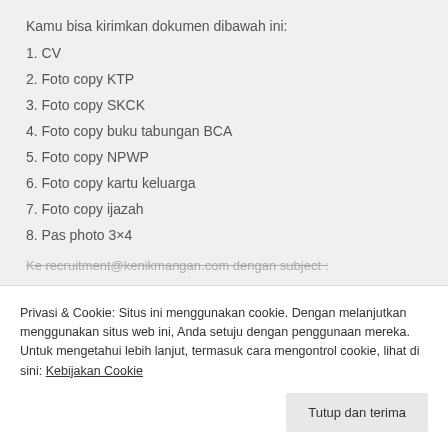Kamu bisa kirimkan dokumen dibawah ini:
1. CV
2. Foto copy KTP
3. Foto copy SKCK
4. Foto copy buku tabungan BCA
5. Foto copy NPWP
6. Foto copy kartu keluarga
7. Foto copy ijazah
8. Pas photo 3×4
Ke recruitment@kenikmangan.com dengan subject :
Privasi & Cookie: Situs ini menggunakan cookie. Dengan melanjutkan menggunakan situs web ini, Anda setuju dengan penggunaan mereka. Untuk mengetahui lebih lanjut, termasuk cara mengontrol cookie, lihat di sini: Kebijakan Cookie
Tutup dan terima